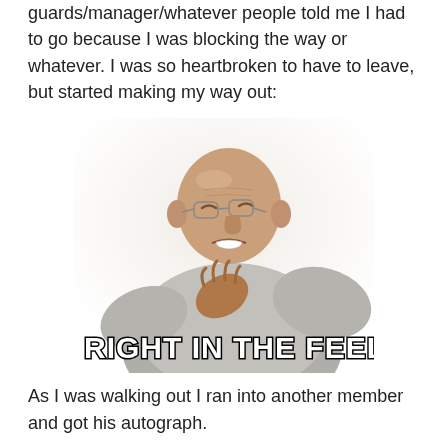guards/manager/whatever people told me I had to go because I was blocking the way or whatever. I was so heartbroken to have to leave, but started making my way out:
[Figure (photo): Meme image of a bald elderly man with glasses clutching his chest/heart, grimacing, overlaid with bold white Impact-style text reading 'RIGHT IN THE FEELS']
As I was walking out I ran into another member and got his autograph.